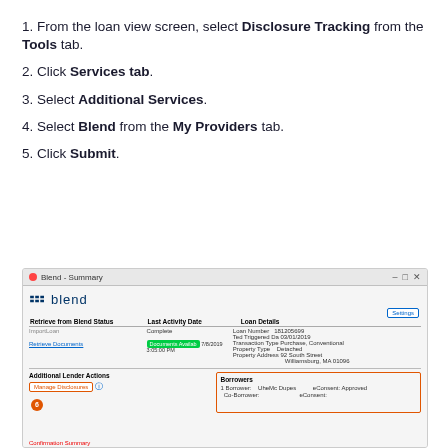1. From the loan view screen, select Disclosure Tracking from the Tools tab.
2. Click Services tab.
3. Select Additional Services.
4. Select Blend from the My Providers tab.
5. Click Submit.
[Figure (screenshot): Blend - Summary application window showing the Blend logo, Retrieve from Blend Status table with ImportLoan (Complete) and Retrieve Documents (Documents Available) rows, Loan Details section with Loan Number 181205699, Ted Triggered Da 03/01/2019, Transaction Type Purchase, Conventional, Property Type Detached, Property Address 92 South Street, Williamsburg MA 01096. Additional Lender Actions section with Manage Disclosures button (step 6 circled in orange) and Borrowers section showing 1 Borrower: UheMc Dupes, eConsent: Approved, Co-Borrower: eConsent:]